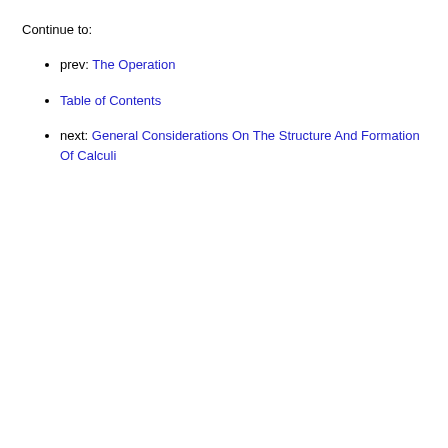Continue to:
prev: The Operation
Table of Contents
next: General Considerations On The Structure And Formation Of Calculi